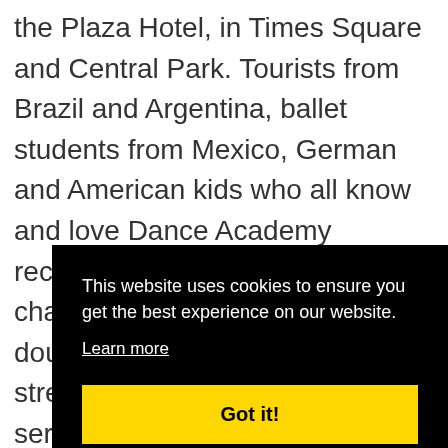the Plaza Hotel, in Times Square and Central Park. Tourists from Brazil and Argentina, ballet students from Mexico, German and American kids who all know and love Dance Academy recognised the cast and their characters, usually doing a double take to see them on the streets in New York when the series is so recognisably Sydn... hom... of th... favou...
This website uses cookies to ensure you get the best experience on our website. Learn more Got it!